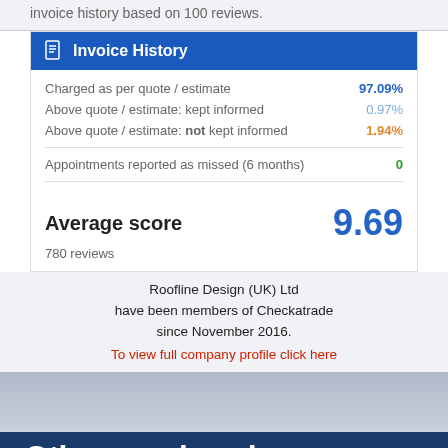invoice history based on 100 reviews.
Invoice History
| Description | Value |
| --- | --- |
| Charged as per quote / estimate | 97.09% |
| Above quote / estimate: kept informed | 0.97% |
| Above quote / estimate: not kept informed | 1.94% |
| Appointments reported as missed (6 months) | 0 |
Average score  9.69
780 reviews
Roofline Design (UK) Ltd have been members of Checkatrade since November 2016.
To view full company profile click here
Other services in Altrincham